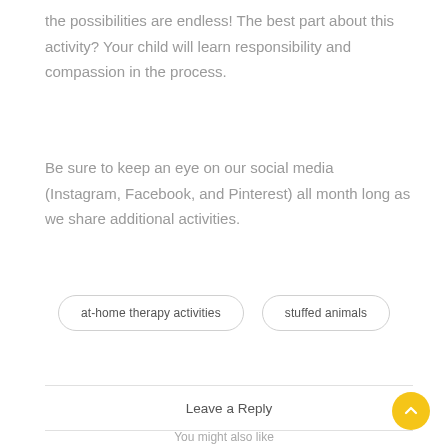the possibilities are endless! The best part about this activity? Your child will learn responsibility and compassion in the process.
Be sure to keep an eye on our social media (Instagram, Facebook, and Pinterest) all month long as we share additional activities.
at-home therapy activities
stuffed animals
Leave a Reply
You might also like